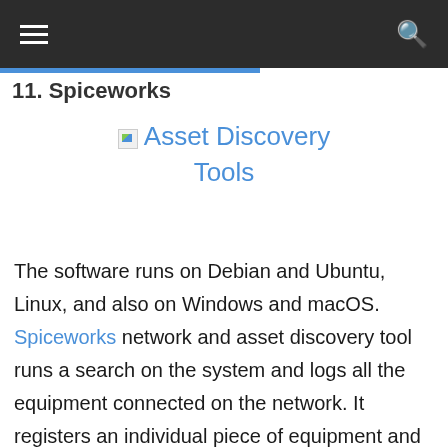11. Spiceworks
[Figure (illustration): Broken image icon with link text 'Asset Discovery Tools' in blue]
The software runs on Debian and Ubuntu, Linux, and also on Windows and macOS. Spiceworks network and asset discovery tool runs a search on the system and logs all the equipment connected on the network. It registers an individual piece of equipment and gives